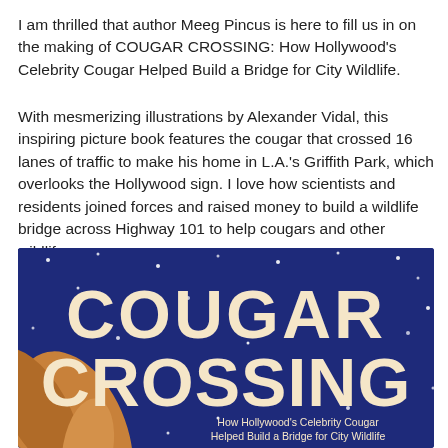I am thrilled that author Meeg Pincus is here to fill us in on the making of COUGAR CROSSING: How Hollywood's Celebrity Cougar Helped Build a Bridge for City Wildlife.
With mesmerizing illustrations by Alexander Vidal, this inspiring picture book features the cougar that crossed 16 lanes of traffic to make his home in L.A.'s Griffith Park, which overlooks the Hollywood sign. I love how scientists and residents joined forces and raised money to build a wildlife bridge across Highway 101 to help cougars and other wildlife.
[Figure (illustration): Book cover of 'Cougar Crossing: How Hollywood's Celebrity Cougar Helped Build a Bridge for City Wildlife'. Dark navy blue background with white stars. Large cream/beige bold text reads 'COUGAR CROSSING' in two lines. Subtitle reads 'How Hollywood's Celebrity Cougar Helped Build a Bridge for City Wildlife'. A cougar's arm/paw is visible on the lower left.]